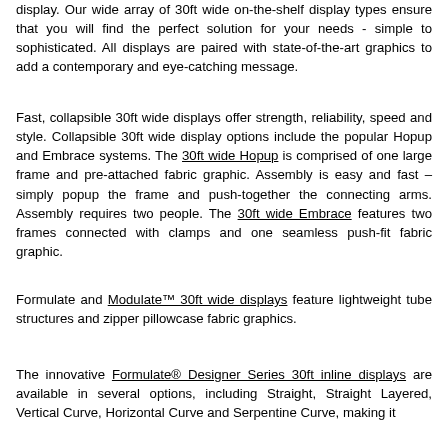display. Our wide array of 30ft wide on-the-shelf display types ensure that you will find the perfect solution for your needs - simple to sophisticated. All displays are paired with state-of-the-art graphics to add a contemporary and eye-catching message.
Fast, collapsible 30ft wide displays offer strength, reliability, speed and style. Collapsible 30ft wide display options include the popular Hopup and Embrace systems. The 30ft wide Hopup is comprised of one large frame and pre-attached fabric graphic. Assembly is easy and fast –simply popup the frame and push-together the connecting arms. Assembly requires two people. The 30ft wide Embrace features two frames connected with clamps and one seamless push-fit fabric graphic.
Formulate and Modulate™ 30ft wide displays feature lightweight tube structures and zipper pillowcase fabric graphics.
The innovative Formulate® Designer Series 30ft inline displays are available in several options, including Straight, Straight Layered, Vertical Curve, Horizontal Curve and Serpentine Curve, making it